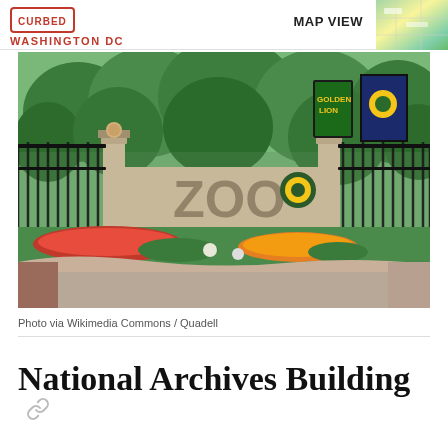CURBED WASHINGTON DC | MAP VIEW
[Figure (photo): Photo of the entrance to the National Zoo (Smithsonian National Zoological Park) in Washington DC, showing ornate black iron gates, a stone ZOO sign, colorful flower beds with red and yellow flowers, green grass, trees, and banners including a Golden Lion banner.]
Photo via Wikimedia Commons / Quadell
National Archives Building